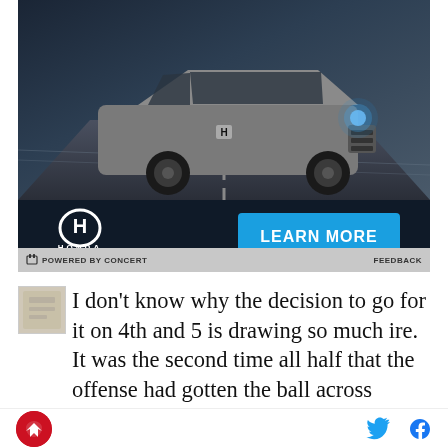[Figure (photo): Honda advertisement showing a gray Honda HR-V SUV driving on a road at night with headlights on. Bottom bar shows Honda logo and a blue 'LEARN MORE' button.]
POWERED BY CONCERT   FEEDBACK
[Figure (photo): Small article thumbnail image]
I don't know why the decision to go for it on 4th and 5 is drawing so much ire. It was the second time all half that the offense had gotten the ball across midfield, and the best case scenario if we punt is probably getting the ball in slightly worse position with two and-
[Figure (logo): Site logo - red circle with bird/hawk icon]
[Figure (illustration): Twitter bird icon in cyan and Facebook 'f' icon in dark, social share buttons]